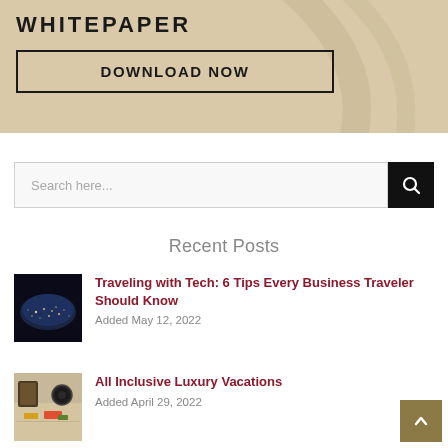[Figure (other): Beige/tan banner area with decorative curved lines and WHITEPAPER heading and DOWNLOAD NOW button]
WHITEPAPER
DOWNLOAD NOW
[Figure (other): Search bar with text 'Search here...' and black search icon button on the right]
Recent Posts
[Figure (photo): Thumbnail photo: Earth from space at night with city lights]
Traveling with Tech: 6 Tips Every Business Traveler Should Know
Added May 12, 2022
[Figure (photo): Thumbnail photo: Travel items, notebook, camera, food overhead view]
All Inclusive Luxury Vacations
Added April 29, 2022